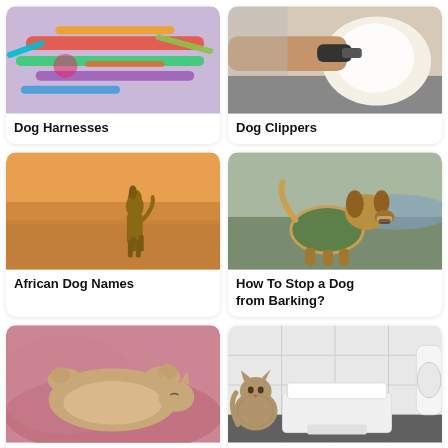[Figure (photo): Colorful dog harnesses and collars scattered on a surface]
Dog Harnesses
[Figure (photo): A person grooming a golden/white dog with clippers]
Dog Clippers
[Figure (photo): A tall slender dog standing alone in an African desert landscape]
African Dog Names
[Figure (photo): A dog wearing a green sweater, barking outdoors near water]
How To Stop a Dog from Barking?
[Figure (photo): A cat lying on pink bedding, showing paws and belly]
Why Are My Cat's Ears Warm?
[Figure (photo): A long-haired cat sitting next to a white modern litter box in a bathroom]
Cat Litter Boxes